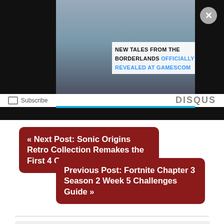[Figure (screenshot): Video thumbnail showing New Tales from the Borderlands game scene with overlay title text and close button]
Subscribe
DISQUS
« Next Post: Sonic Origins Retro Collection Remakes the First 4 Games
Previous Post: Fortnite Chapter 3 Season 2 Week 5 Challenges Guide »
Latest Video Games News
[Figure (screenshot): Game screenshot showing a character with purple/pink armor fighting]